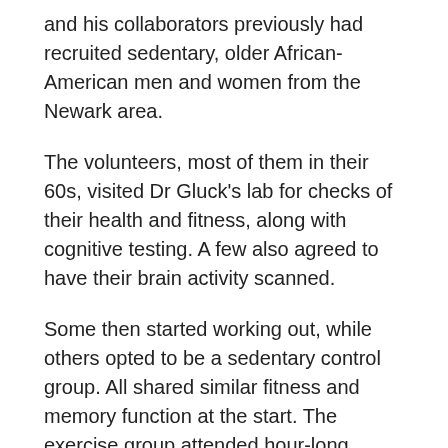and his collaborators previously had recruited sedentary, older African-American men and women from the Newark area.
The volunteers, most of them in their 60s, visited Dr Gluck's lab for checks of their health and fitness, along with cognitive testing. A few also agreed to have their brain activity scanned.
Some then started working out, while others opted to be a sedentary control group. All shared similar fitness and memory function at the start. The exercise group attended hour-long aerobic dance classes twice a week at a church or community centre for 20 weeks.
Now, Dr Gluck and his research associate Neha Sinha, along with other colleagues, invited 34 of those volunteers who had